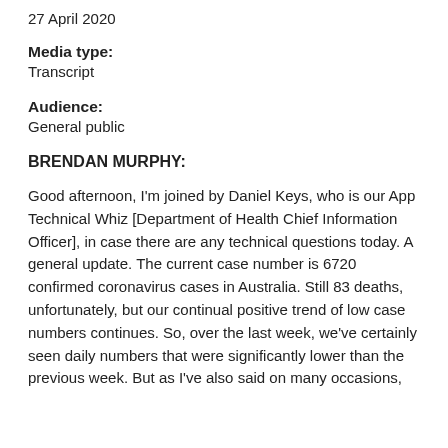27 April 2020
Media type:
Transcript
Audience:
General public
BRENDAN MURPHY:
Good afternoon, I'm joined by Daniel Keys, who is our App Technical Whiz [Department of Health Chief Information Officer], in case there are any technical questions today. A general update. The current case number is 6720 confirmed coronavirus cases in Australia. Still 83 deaths, unfortunately, but our continual positive trend of low case numbers continues. So, over the last week, we've certainly seen daily numbers that were significantly lower than the previous week. But as I've also said on many occasions,